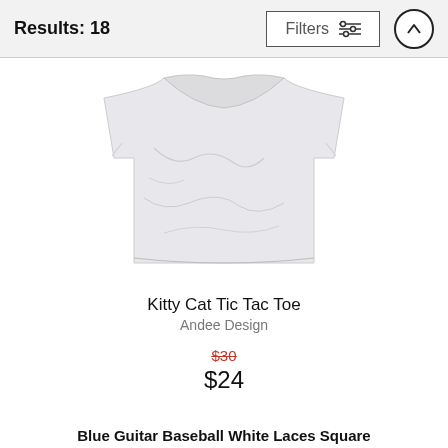Results: 18
[Figure (photo): White t-shirt product photo shown folded/laid flat against a white background]
Kitty Cat Tic Tac Toe
Andee Design
$30 (strikethrough original price)
$24
Blue Guitar Baseball White Laces Square